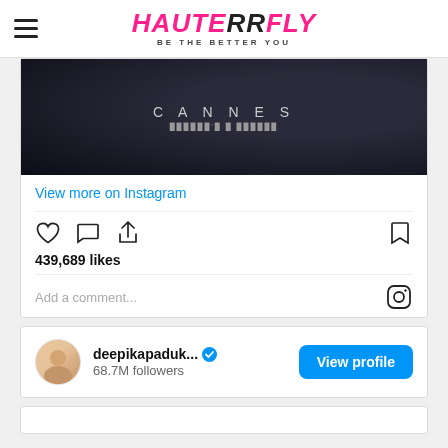HAUTERRFLY — BE THE BETTER YOU
[Figure (screenshot): Instagram post embed showing a dark image with CANNES text overlay, 439,689 likes, comment input, and Instagram icon]
View more on Instagram
439,689 likes
Add a comment...
deepikapaduk... 68.7M followers View profile